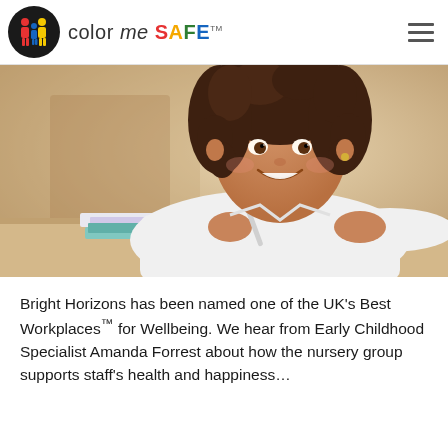color me SAFE
[Figure (photo): Young girl with curly hair smiling while writing in a notebook at a desk, photographed from a low angle.]
Bright Horizons has been named one of the UK's Best Workplaces™ for Wellbeing. We hear from Early Childhood Specialist Amanda Forrest about how the nursery group supports staff's health and happiness…